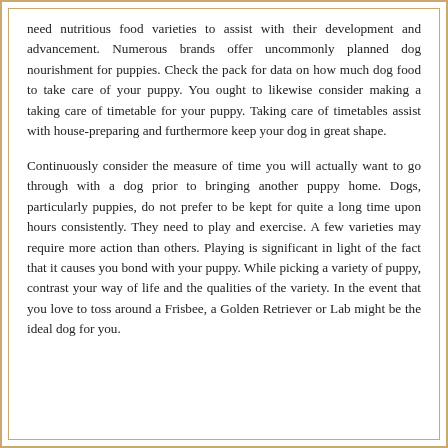need nutritious food varieties to assist with their development and advancement. Numerous brands offer uncommonly planned dog nourishment for puppies. Check the pack for data on how much dog food to take care of your puppy. You ought to likewise consider making a taking care of timetable for your puppy. Taking care of timetables assist with house-preparing and furthermore keep your dog in great shape.
Continuously consider the measure of time you will actually want to go through with a dog prior to bringing another puppy home. Dogs, particularly puppies, do not prefer to be kept for quite a long time upon hours consistently. They need to play and exercise. A few varieties may require more action than others. Playing is significant in light of the fact that it causes you bond with your puppy. While picking a variety of puppy, contrast your way of life and the qualities of the variety. In the event that you love to toss around a Frisbee, a Golden Retriever or Lab might be the ideal dog for you.